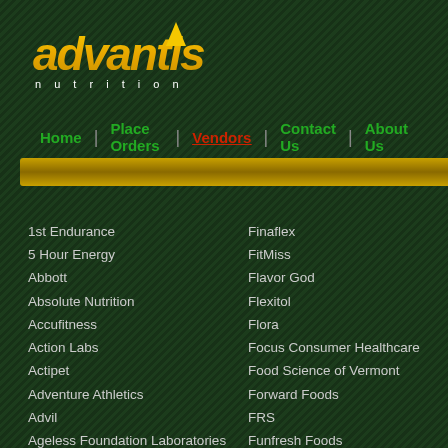[Figure (logo): Advantis Nutrition logo with italic gold text and 'nutrition' subtitle]
Home | Place Orders | Vendors | Contact Us | About Us
1st Endurance
5 Hour Energy
Abbott
Absolute Nutrition
Accufitness
Action Labs
Actipet
Adventure Athletics
Advil
Ageless Foundation Laboratories
Akpharma
Alacer
Alaffia
Finaflex
FitMiss
Flavor God
Flexitol
Flora
Focus Consumer Healthcare
Food Science of Vermont
Forward Foods
FRS
Funfresh Foods
Futurebiotics
Garden Greens
Gaspari Nutrition